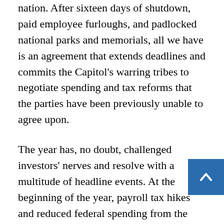nation. After sixteen days of shutdown, paid employee furloughs, and padlocked national parks and memorials, all we have is an agreement that extends deadlines and commits the Capitol's warring tribes to negotiate spending and tax reforms that the parties have been previously unable to agree upon.
The year has, no doubt, challenged investors' nerves and resolve with a multitude of headline events. At the beginning of the year, payroll tax hikes and reduced federal spending from the budget sequestration threatened the fragile recovery. Remember Cyprus? That relatively minor banking crisis brought back fresh doubts on the viability of the euro bloc. China saw its growth sputter earlier in